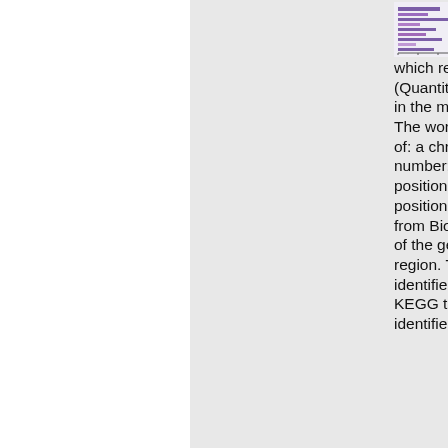[Figure (illustration): Small thumbnail image showing a horizontal bar chart or gene visualization with purple/pink colored bars on a white/light background]
searches for genes which reside in a QTL (Quantitative Trait Loci) region in the mouse, Mus musculus. The workflow requires an input of: a chromosome name or number; a QTL start base pair position; QTL end base pair position. Data is then extracted from BioMart to annotate each of the genes found in this region. The Entrez and UniProt identifiers are then sent to KEGG to obtain KEGG gene identifiers.